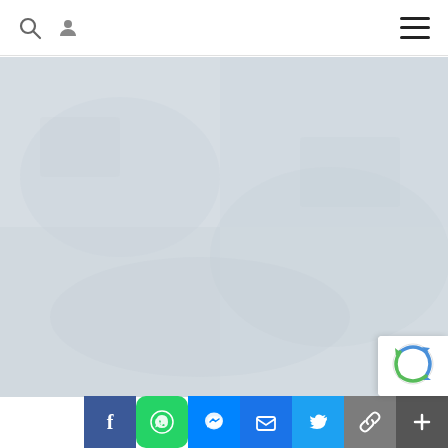Website header with search icon, user icon, and hamburger menu
[Figure (photo): Large light grey/blue-grey background image filling the main content area, appears to be a washed-out or low-contrast outdoor photo]
[Figure (logo): reCAPTCHA badge in bottom-right corner with blue/green recycling-style arrow logo]
[Figure (infographic): Social share buttons bar at bottom: Facebook (blue), WhatsApp (green), Messenger (blue), Email (blue), Twitter (light blue), Copy link (grey), More (dark grey with plus sign)]